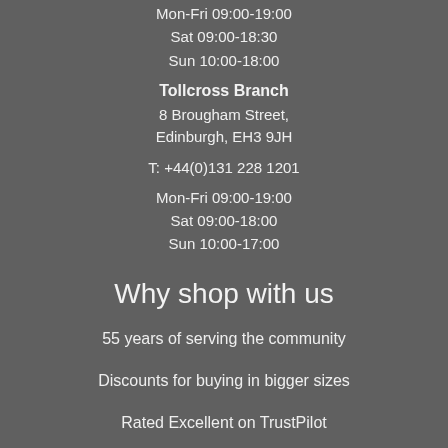Mon-Fri 09:00-19:00
Sat 09:00-18:30
Sun 10:00-18:00
Tollcross Branch
8 Brougham Street,
Edinburgh, EH3 9JH
T: +44(0)131 228 1201
Mon-Fri 09:00-19:00
Sat 09:00-18:00
Sun 10:00-17:00
Why shop with us
55 years of serving the community
Discounts for buying in bigger sizes
Rated Excellent on TrustPilot